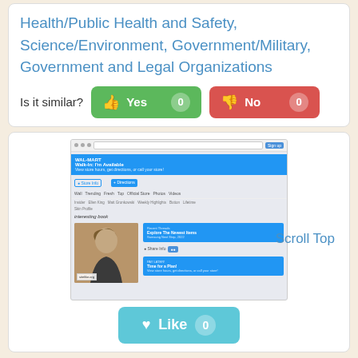Health/Public Health and Safety, Science/Environment, Government/Military, Government and Legal Organizations
Is it similar? Yes 0  No 0
[Figure (screenshot): Screenshot of a website showing a video platform page with a woman reading, blue UI elements, store info and directions buttons, and sitelike.org watermark. 'Scroll Top' text appears to the right.]
Like 0
9gag.com